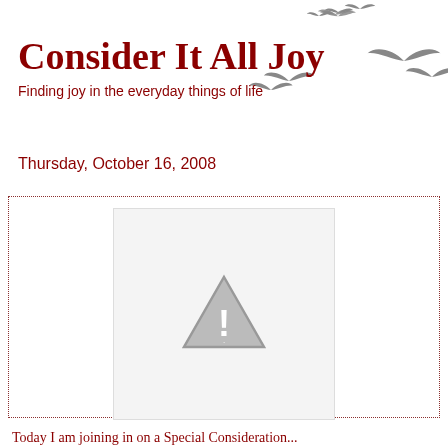Consider It All Joy
Finding joy in the everyday things of life
Thursday, October 16, 2008
[Figure (photo): Broken/missing image placeholder with warning triangle icon]
Today I am joining in on a Special Consideration...